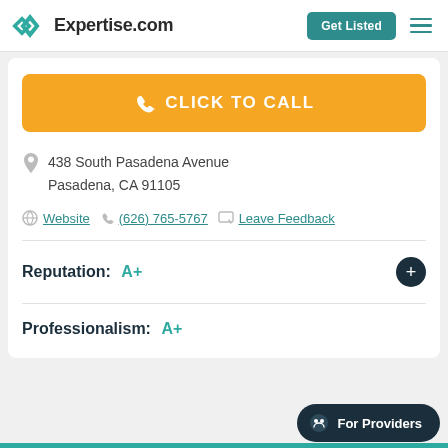Expertise.com | Get Listed
CLICK TO CALL
438 South Pasadena Avenue
Pasadena, CA 91105
Website | (626) 765-5767 | Leave Feedback
Reputation: A+
Professionalism: A+
For Providers